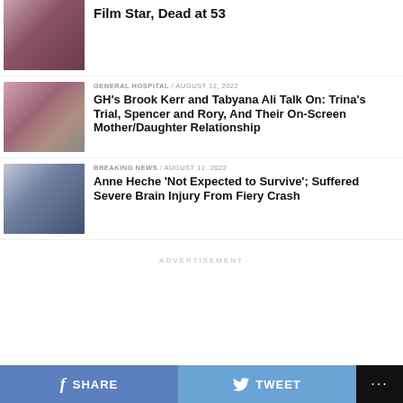[Figure (photo): Photo of a film star]
Film Star, Dead at 53
GENERAL HOSPITAL / August 12, 2022
[Figure (photo): Photos of Brook Kerr and Tabyana Ali]
GH’s Brook Kerr and Tabyana Ali Talk On: Trina’s Trial, Spencer and Rory, And Their On-Screen Mother/Daughter Relationship
BREAKING NEWS / August 11, 2022
[Figure (photo): Photo of Anne Heche at DGA event]
Anne Heche ‘Not Expected to Survive’; Suffered Severe Brain Injury From Fiery Crash
ADVERTISEMENT
SHARE   TWEET   ...